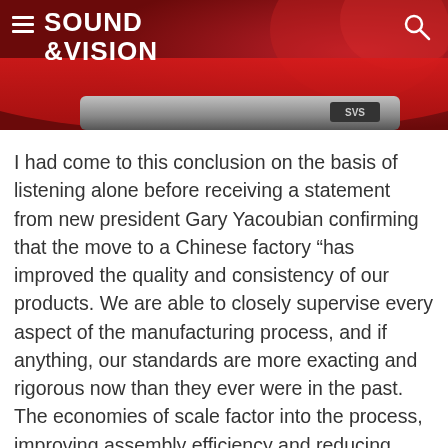SOUND &VISION
[Figure (photo): Partial view of a red and grey SVS audio device against a dark red background, showing the top/side of the unit with the SVS logo]
I had come to this conclusion on the basis of listening alone before receiving a statement from new president Gary Yacoubian confirming that the move to a Chinese factory “has improved the quality and consistency of our products. We are able to closely supervise every aspect of the manufacturing process, and if anything, our standards are more exacting and rigorous now than they ever were in the past. The economies of scale factor into the process, improving assembly efficiency and reducing labor costs.”